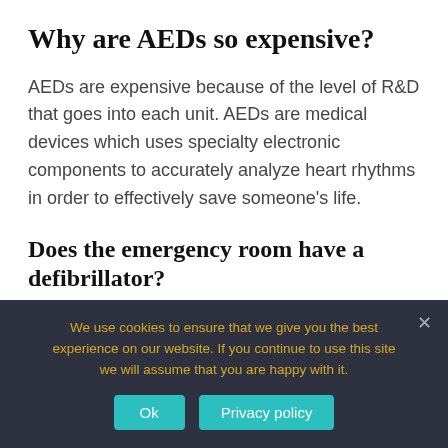Why are AEDs so expensive?
AEDs are expensive because of the level of R&D that goes into each unit. AEDs are medical devices which uses specialty electronic components to accurately analyze heart rhythms in order to effectively save someone’s life.
Does the emergency room have a defibrillator?
We use cookies to ensure that we give you the best experience on our website. If you continue to use this site we will assume that you are happy with it.